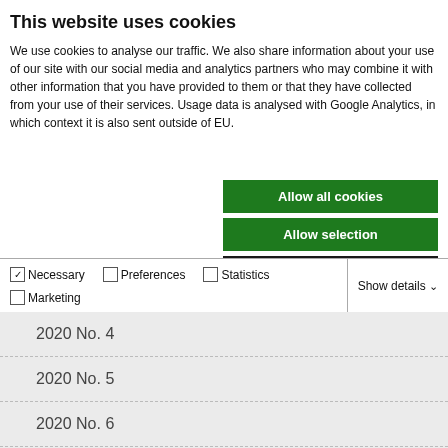This website uses cookies
We use cookies to analyse our traffic. We also share information about your use of our site with our social media and analytics partners who may combine it with other information that you have provided to them or that they have collected from your use of their services. Usage data is analysed with Google Analytics, in which context it is also sent outside of EU.
Allow all cookies
Allow selection
Use necessary cookies only
| Necessary | Preferences | Statistics | Show details |
| Marketing |  |  |  |
2020 No. 4
2020 No. 5
2020 No. 6
2019 No. 1